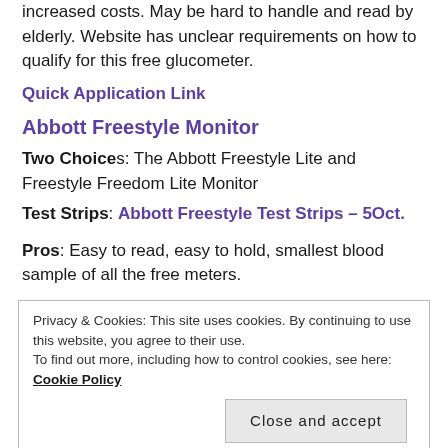increased costs. May be hard to handle and read by elderly. Website has unclear requirements on how to qualify for this free glucometer.
Quick Application Link
Abbott Freestyle Monitor
Two Choices: The Abbott Freestyle Lite and Freestyle Freedom Lite Monitor
Test Strips: Abbott Freestyle Test Strips – 50ct.
Pros: Easy to read, easy to hold, smallest blood sample of all the free meters.
Privacy & Cookies: This site uses cookies. By continuing to use this website, you agree to their use. To find out more, including how to control cookies, see here: Cookie Policy
Close and accept
1. ACCU-CHECK